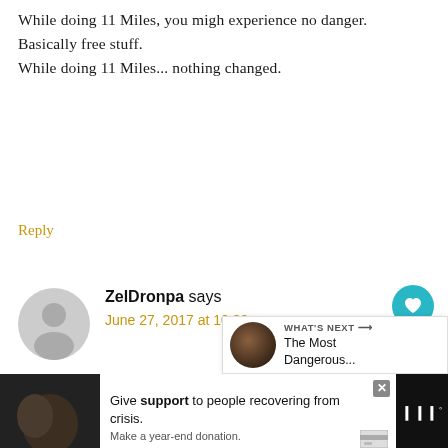While doing 11 Miles, you migh experience no danger. Basically free stuff.
While doing 11 Miles... nothing changed.
Reply
ZelDronpa says
June 27, 2017 at 10:30 am
I don't think that wish would be granted
Reply
WHAT'S NEXT → The Most Dangerous...
[Figure (screenshot): Advertisement bar at bottom: image of people hugging, donation appeal text 'Give support to people recovering from crisis. Make a year-end donation.' with close button and brand logo.]